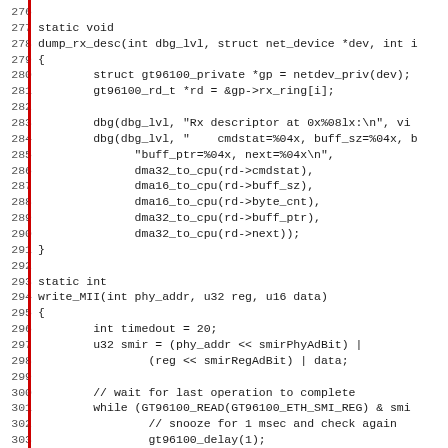Source code listing lines 276–307, C code for dump_rx_desc and write_MII functions